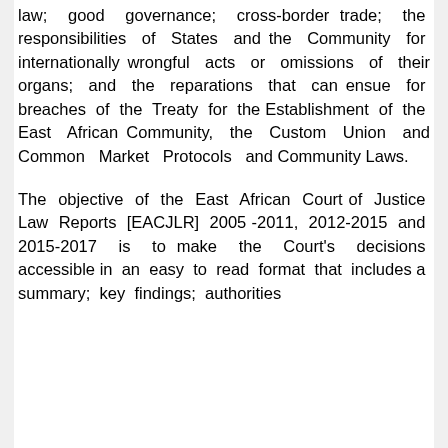law; good governance; cross-border trade; the responsibilities of States and the Community for internationally wrongful acts or omissions of their organs; and the reparations that can ensue for breaches of the Treaty for the Establishment of the East African Community, the Custom Union and Common Market Protocols and Community Laws.
The objective of the East African Court of Justice Law Reports [EACJLR] 2005-2011, 2012-2015 and 2015-2017 is to make the Court's decisions accessible in an easy to read format that includes a summary; key findings; authorities